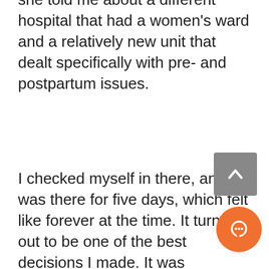she told me about a different hospital that had a women's ward and a relatively new unit that dealt specifically with pre- and postpartum issues.
I checked myself in there, and I was there for five days, which felt like forever at the time. It turned out to be one of the best decisions I made. It was extraordinarily difficult. It was the first time that I had been away from the kids. But as soon as I checked out, I had a treatment plan and I had a treatment team at the hospital, and I started weekly therapy sessions and check-ins at the do I started a medication that I coul take while I was nursing. And I was